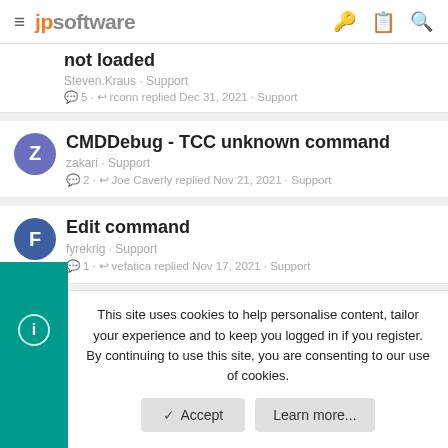jpsoftware
not loaded
Steven.Kraus · Support
5 · rconn replied Dec 31, 2021 · Support
CMDDebug - TCC unknown command
zakari · Support
2 · Joe Caverly replied Nov 21, 2021 · Support
Edit command
fyrekrig · Support
1 · vefatica replied Nov 17, 2021 · Support
This site uses cookies to help personalise content, tailor your experience and to keep you logged in if you register.
By continuing to use this site, you are consenting to our use of cookies.